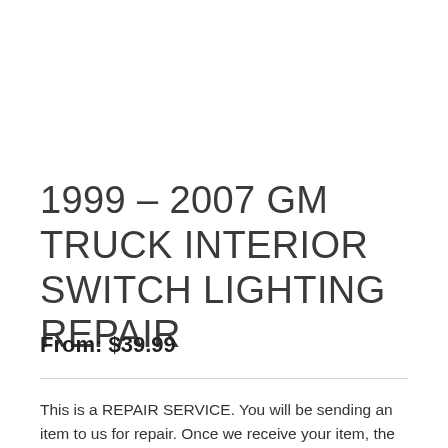1999 – 2007 GM TRUCK INTERIOR SWITCH LIGHTING REPAIR
From: $39.99
This is a REPAIR SERVICE. You will be sending an item to us for repair. Once we receive your item, the turnaround is